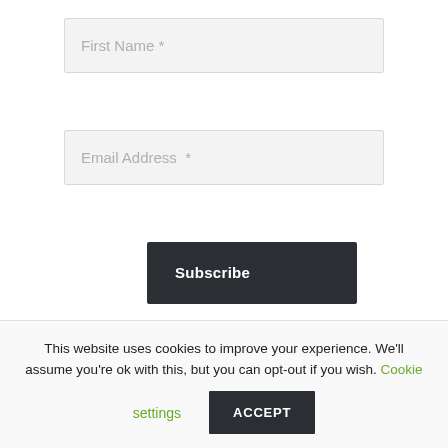[Figure (other): Form input field with placeholder text 'First Name *' on a light gray background]
[Figure (other): Form input field with placeholder text 'Email Address  *' on a light gray background]
[Figure (other): Dark button labeled 'Subscribe' in bold white text]
This website uses cookies to improve your experience. We'll assume you're ok with this, but you can opt-out if you wish. Cookie settings ACCEPT